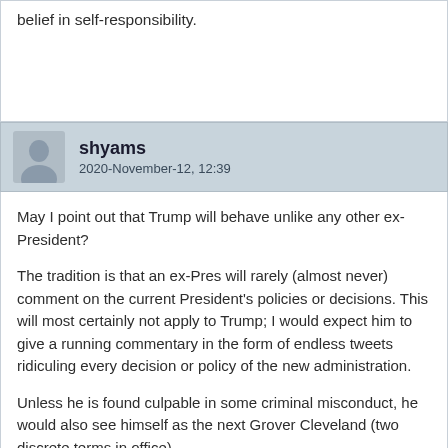belief in self-responsibility.
shyams
2020-November-12, 12:39
May I point out that Trump will behave unlike any other ex-President?

The tradition is that an ex-Pres will rarely (almost never) comment on the current President's policies or decisions. This will most certainly not apply to Trump; I would expect him to give a running commentary in the form of endless tweets ridiculing every decision or policy of the new administration.

Unless he is found culpable in some criminal misconduct, he would also see himself as the next Grover Cleveland (two discrete terms in office).

I'm afraid this thread is not going anywhere any time soon. There is still 8 more years of life left in it 😑 🙁